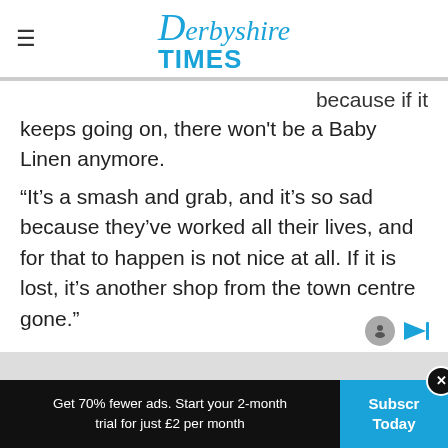Derbyshire Times
because if it keeps going on, there won't be a Baby Linen anymore.
“It’s a smash and grab, and it’s so sad because they’ve worked all their lives, and for that to happen is not nice at all. If it is lost, it’s another shop from the town centre gone.”
Get 70% fewer ads. Start your 2-month trial for just £2 per month
Subscribe Today